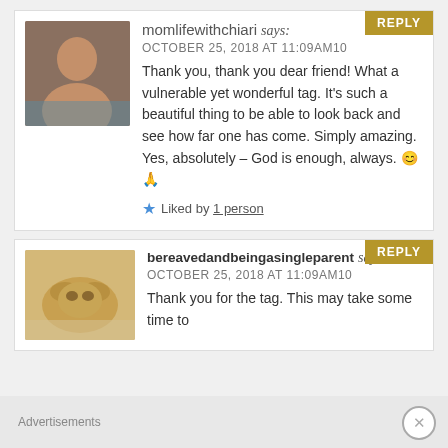momlifewithchiari says: OCTOBER 25, 2018 AT 11:09AM10
Thank you, thank you dear friend! What a vulnerable yet wonderful tag. It's such a beautiful thing to be able to look back and see how far one has come. Simply amazing. Yes, absolutely – God is enough, always. 😊🙏
★ Liked by 1 person
bereavedandbeingasingleparent says: OCTOBER 25, 2018 AT 11:09AM10
Thank you for the tag. This may take some time to...
Advertisements